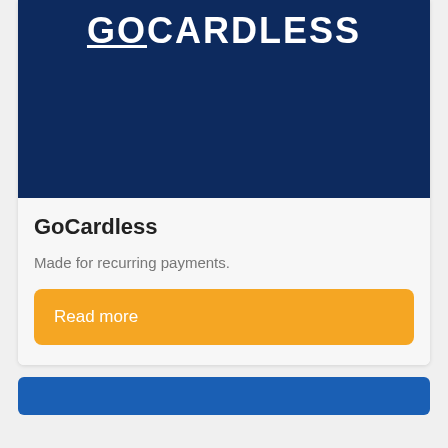[Figure (logo): GoCardless logo — white bold uppercase text on dark navy blue background]
GoCardless
Made for recurring payments.
Read more